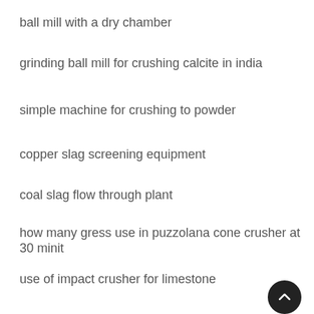ball mill with a dry chamber
grinding ball mill for crushing calcite in india
simple machine for crushing to powder
copper slag screening equipment
coal slag flow through plant
how many gress use in puzzolana cone crusher at 30 minit
use of impact crusher for limestone
sbm crushers at worsley crushing plant flow she
small scale gold mining equipment in nigeria
mini rock crusher rental san antonio texas